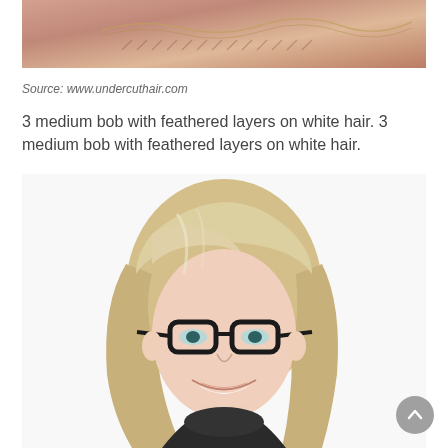[Figure (photo): Top portion of previous image showing what appears to be a close-up of skin/neckline with a chain necklace]
Source: www.undercuthair.com
3 medium bob with feathered layers on white hair. 3 medium bob with feathered layers on white hair.
[Figure (photo): Photo of a middle-aged woman with shoulder-length blonde hair with layers, wearing dark-framed glasses and a dark turtleneck, smiling]